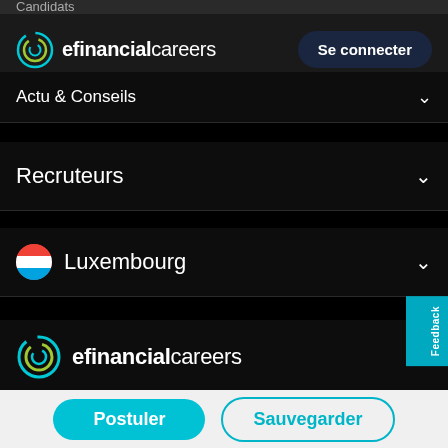Candidats
[Figure (logo): eFinancialCareers logo with spiral graphic and 'Se connecter' button]
Actu & Conseils
Recruteurs
Luxembourg
[Figure (logo): eFinancialCareers footer logo]
Conditions d'utilisation
Politique de confidentialité
Politique cookies
GDPR
Postuler
Sauvegarder